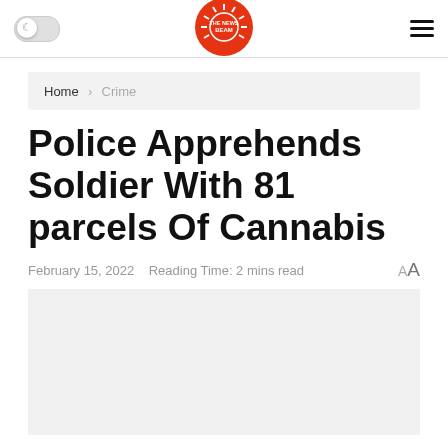The News Beam — header with logo, dark mode toggle, and hamburger menu
Home > Crime
Police Apprehends Soldier With 81 parcels Of Cannabis
February 15, 2022   Reading Time: 2 mins read   AA
[Figure (photo): Light grey image placeholder below the article headline]